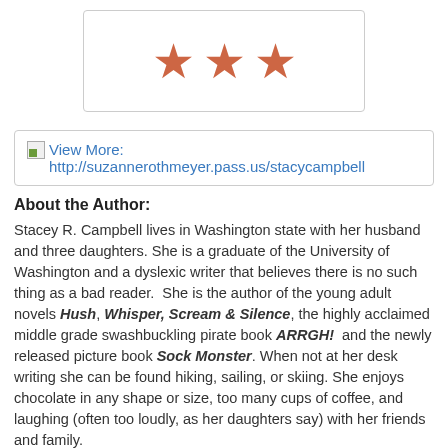[Figure (other): Three red/copper star rating icons in a bordered box]
View More: http://suzannerothmeyer.pass.us/stacycampbell
About the Author:
Stacey R. Campbell lives in Washington state with her husband and three daughters. She is a graduate of the University of Washington and a dyslexic writer that believes there is no such thing as a bad reader.  She is the author of the young adult novels Hush, Whisper, Scream & Silence, the highly acclaimed middle grade swashbuckling pirate book ARRGH!  and the newly released picture book Sock Monster. When not at her desk writing she can be found hiking, sailing, or skiing. She enjoys chocolate in any shape or size, too many cups of coffee, and laughing (often too loudly, as her daughters say) with her friends and family.